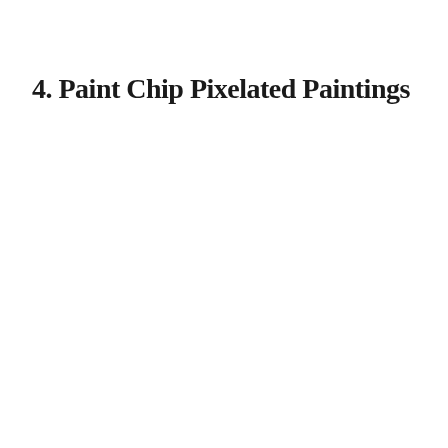4. Paint Chip Pixelated Paintings